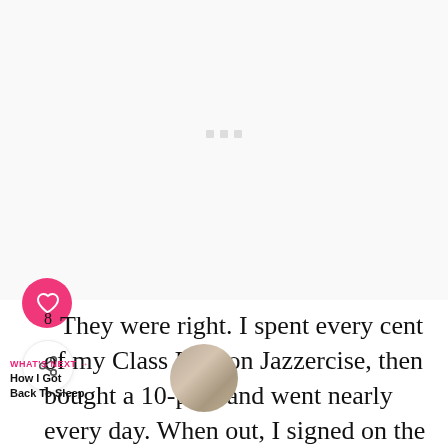[Figure (other): Light gray placeholder/ad area with three small gray squares in the center]
8 They were right. I spent every cent of my Class Pass on Jazzercise, then bought a 10-pass and went nearly every day. When out, I signed on the dotted line for an annual membership. Two years late, I
WHAT'S NEXT → How I Got Back To Sleep